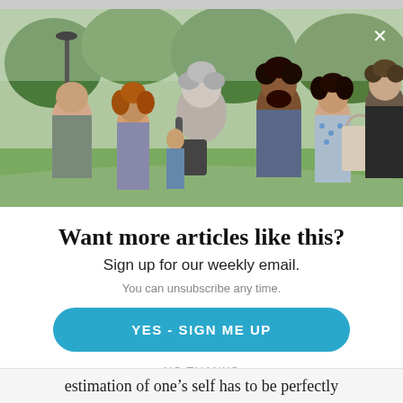[Figure (photo): Group of people standing outdoors in a park setting, talking and socializing. Greenery and trees in background.]
Want more articles like this?
Sign up for our weekly email.
You can unsubscribe any time.
YES - SIGN ME UP
NO THANKS
estimation of one's self has to be perfectly